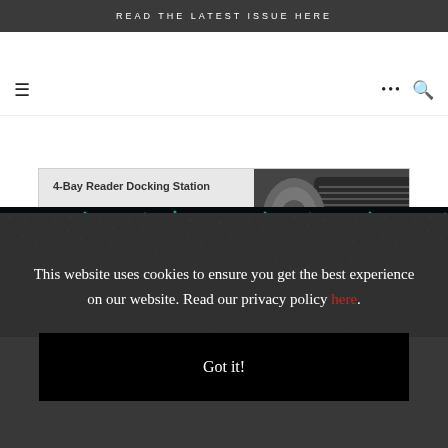READ THE LATEST ISSUE HERE
≡   ••• 🔍
4-Bay Reader Docking Station
» LEARN MORE
PRO-READER devices sold separately
[Figure (photo): Dark abstract tech image with cyan/teal dot pattern in wave formation on black background]
This website uses cookies to ensure you get the best experience on our website. Read our privacy policy here.
Got it!